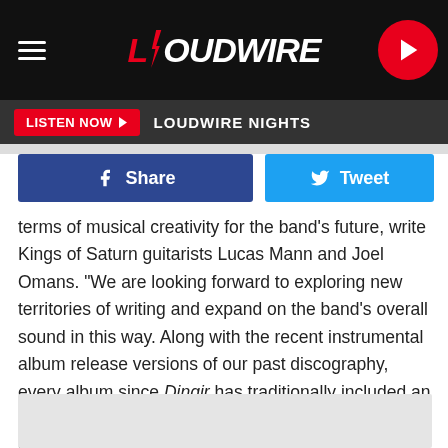LOUDWIRE
LISTEN NOW ▶  LOUDWIRE NIGHTS
[Figure (screenshot): Facebook Share button (dark blue) and Twitter Tweet button (light blue)]
terms of musical creativity for the band's future, write Kings of Saturn guitarists Lucas Mann and Joel Omans. "We are looking forward to exploring new territories of writing and expand on the band's overall sound in this way. Along with the recent instrumental album release versions of our past discography, every album since Dingir has traditionally included an instrumental track, so many fans will appreciate what's coming next with a sense of familiarity."